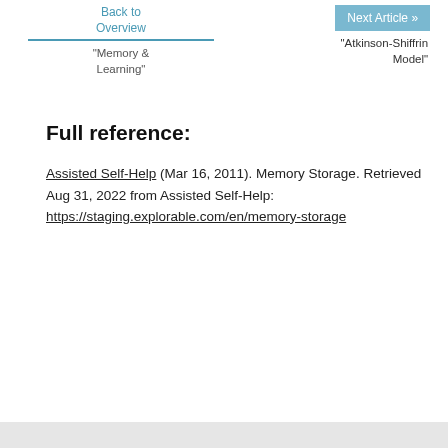Back to Overview
Next Article »
"Memory & Learning"
"Atkinson-Shiffrin Model"
Full reference:
Assisted Self-Help (Mar 16, 2011). Memory Storage. Retrieved Aug 31, 2022 from Assisted Self-Help: https://staging.explorable.com/en/memory-storage